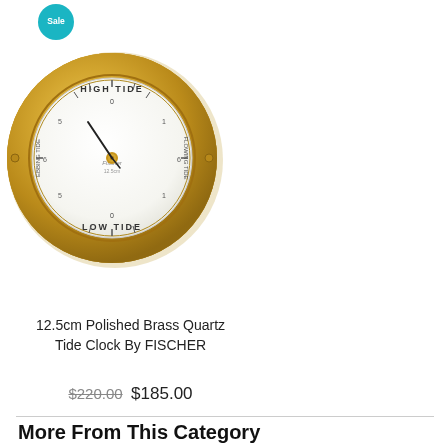[Figure (photo): 12.5cm Polished Brass Quartz Tide Clock by Fischer - circular brass instrument with HIGH TIDE at top and LOW TIDE at bottom markings, gold colored case]
12.5cm Polished Brass Quartz Tide Clock By FISCHER
$220.00 $185.00
More From This Category
[Figure (photo): Clock with leather strap hanging mechanism, white face with Roman numerals, oval shape with silver/beige case]
[Figure (photo): Round brass wall clock with white face, black hands, showing numbers 9-12 and 1-3 visible, gold brass case]